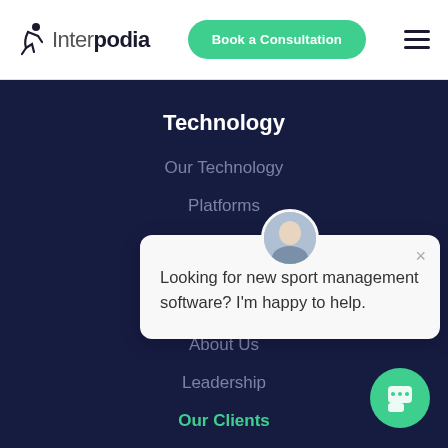[Figure (logo): Interpodia logo with running figure icon]
Book a Consultation
Technology
Our Technology
Platforms
Book
C
About Us
Leadership
Our Clients
Looking for new sport management software? I'm happy to help.